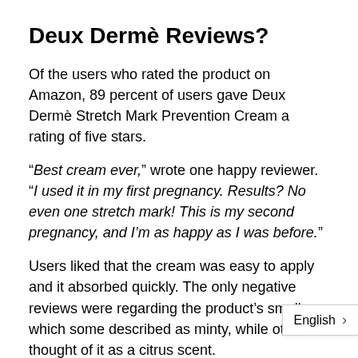Deux Dermè Reviews?
Of the users who rated the product on Amazon, 89 percent of users gave Deux Dermè Stretch Mark Prevention Cream a rating of five stars.
“Best cream ever,” wrote one happy reviewer. “I used it in my first pregnancy. Results? No even one stretch mark! This is my second pregnancy, and I’m as happy as I was before.”
Users liked that the cream was easy to apply and it absorbed quickly. The only negative reviews were regarding the product’s smell, which some described as minty, while others thought of it as a citrus scent.
It is recommended for use on the breast thighs and abdomen, applied twice a day...